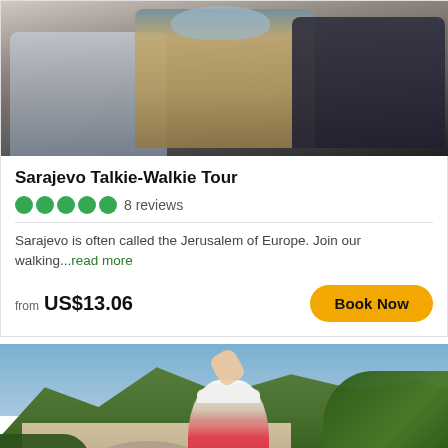[Figure (photo): Group photo of three people posing together, one wearing a blue headscarf, one in a tan jacket, one in dark jacket with backpack]
Sarajevo Talkie-Walkie Tour
●●●●● 8 reviews
Sarajevo is often called the Jerusalem of Europe. Join our walking...read more
from US$13.06
Book Now
[Figure (photo): Tourist woman in white hat and red backpack raising her arm, photographed from behind, with the Stari Most bridge in Mostar visible in the background against green mountains]